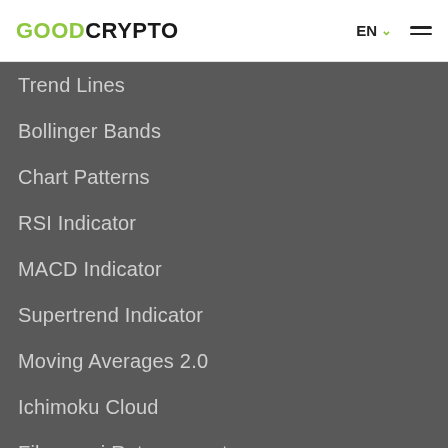GOODCRYPTO  EN  ☰
Trend Lines
Bollinger Bands
Chart Patterns
RSI Indicator
MACD Indicator
Supertrend Indicator
Moving Averages 2.0
Ichimoku Cloud
Fibonacci Retracement
Learn
Kraken vs Coinbase Pro
What is DeFi in Crypto